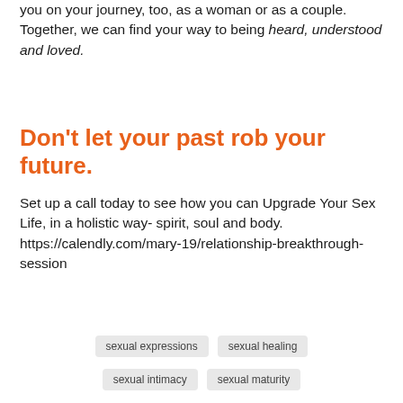you on your journey, too, as a woman or as a couple. Together, we can find your way to being heard, understood and loved.
Don't let your past rob your future.
Set up a call today to see how you can Upgrade Your Sex Life, in a holistic way- spirit, soul and body. https://calendly.com/mary-19/relationship-breakthrough-session
sexual expressions
sexual healing
sexual intimacy
sexual maturity